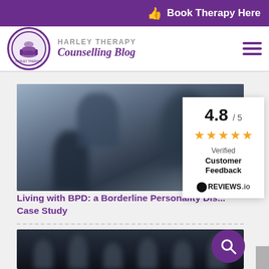Book Therapy Here
[Figure (logo): Harley Therapy circular logo with armchair icon]
HARLEY THERAPY Counselling Blog
[Figure (photo): Blurred background photo with silhouette figures]
Living with BPD: a Borderline Personality Dis... Case Study
[Figure (photo): Dark blurred photo with people silhouettes and purple search button]
[Figure (infographic): Rating widget showing 4.8/5 with 5 orange stars, Verified Customer Feedback, REVIEWS.io]